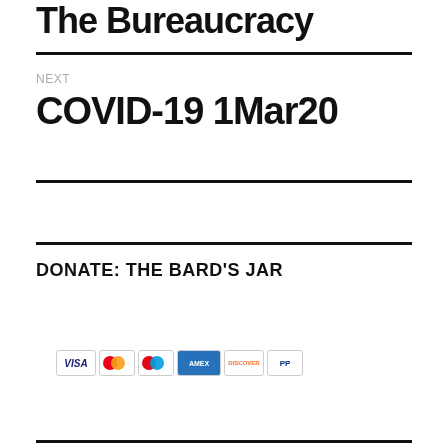The Bureaucracy
NEXT
COVID-19 1Mar20
DONATE: THE BARD'S JAR
[Figure (other): PayPal Donate button with payment method icons (Visa, Mastercard, Maestro, American Express, Discover, PayPal)]